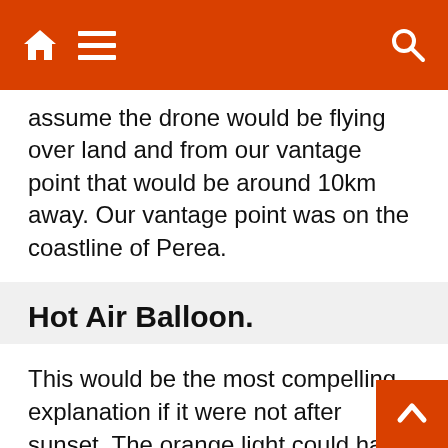Navigation bar with home, menu, and search icons
assume the drone would be flying over land and from our vantage point that would be around 10km away. Our vantage point was on the coastline of Perea.
Hot Air Balloon.
This would be the most compelling explanation if it were not after sunset. The orange light could have been made by the balloon burners and I presume they would be orange. The speed of the light's movement could also be consistent with a hot air balloon. However I believe flying a hot air balloon at